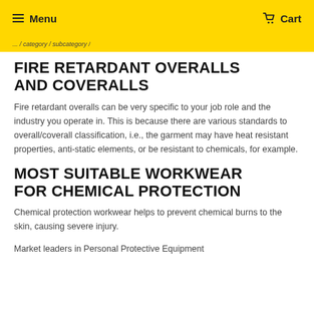Menu   Cart
...breadcrumb navigation...
FIRE RETARDANT OVERALLS AND COVERALLS
Fire retardant overalls can be very specific to your job role and the industry you operate in. This is because there are various standards to overall/coverall classification, i.e., the garment may have heat resistant properties, anti-static elements, or be resistant to chemicals, for example.
MOST SUITABLE WORKWEAR FOR CHEMICAL PROTECTION
Chemical protection workwear helps to prevent chemical burns to the skin, causing severe injury.
Market leaders in Personal Protective Equipment